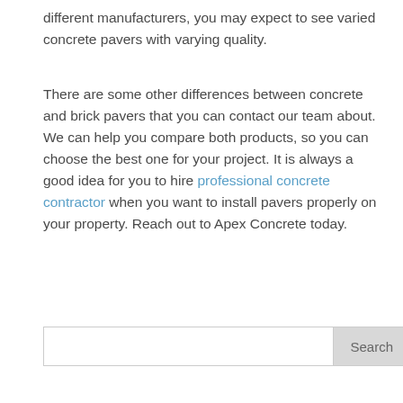different manufacturers, you may expect to see varied concrete pavers with varying quality.
There are some other differences between concrete and brick pavers that you can contact our team about. We can help you compare both products, so you can choose the best one for your project. It is always a good idea for you to hire professional concrete contractor when you want to install pavers properly on your property. Reach out to Apex Concrete today.